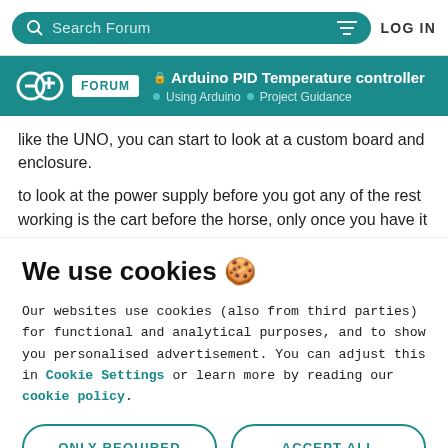Search Forum | LOG IN
Arduino PID Temperature controller | Using Arduino > Project Guidance
like the UNO, you can start to look at a custom board and enclosure.
to look at the power supply before you got any of the rest working is the cart before the horse, only once you have it
We use cookies 🍪
Our websites use cookies (also from third parties) for functional and analytical purposes, and to show you personalised advertisement. You can adjust this in Cookie Settings or learn more by reading our cookie policy.
ONLY REQUIRED
ACCEPT ALL